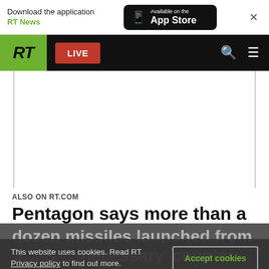Download the application RT News | Available on the App Store
[Figure (screenshot): RT news website navigation bar with green RT logo, red LIVE button, search icon, and hamburger menu on black background]
ALSO ON RT.COM
Pentagon says more than a dozen missiles launched from
This website uses cookies. Read RT Privacy policy to find out more.
Accept cookies